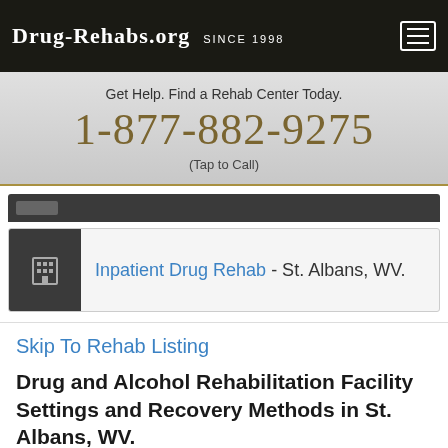Drug-Rehabs.org Since 1998
Get Help. Find a Rehab Center Today.
1-877-882-9275
(Tap to Call)
Inpatient Drug Rehab - St. Albans, WV.
Skip To Rehab Listing
Drug and Alcohol Rehabilitation Facility Settings and Recovery Methods in St. Albans, WV.
Individuals in St. Albans who have a substance abuse problem have multiple nearby rehabilitation